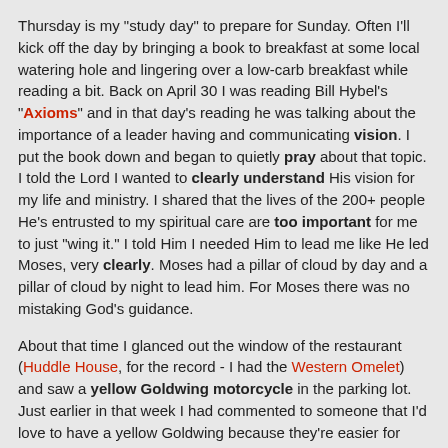Thursday is my "study day" to prepare for Sunday. Often I'll kick off the day by bringing a book to breakfast at some local watering hole and lingering over a low-carb breakfast while reading a bit. Back on April 30 I was reading Bill Hybel's "Axioms" and in that day's reading he was talking about the importance of a leader having and communicating vision. I put the book down and began to quietly pray about that topic. I told the Lord I wanted to clearly understand His vision for my life and ministry. I shared that the lives of the 200+ people He's entrusted to my spiritual care are too important for me to just "wing it." I told Him I needed Him to lead me like He led Moses, very clearly. Moses had a pillar of cloud by day and a pillar of cloud by night to lead him. For Moses there was no mistaking God's guidance.
About that time I glanced out the window of the restaurant (Huddle House, for the record - I had the Western Omelet) and saw a yellow Goldwing motorcycle in the parking lot. Just earlier in that week I had commented to someone that I'd love to have a yellow Goldwing because they're easier for others to see. (Many motorcycle accidents happen because other drivers just don't see the motorcycles. Please watch out for motorcycles - look for bikes, not at them.)